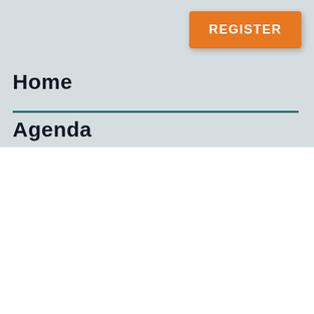[Figure (screenshot): Orange REGISTER button with white bold text, rounded corners, positioned in the top-right of the page header area]
Home
Agenda